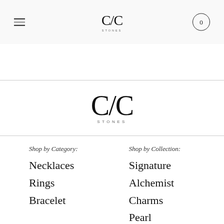CVC STONES — navigation bar with hamburger menu, logo, and cart (0)
[Figure (logo): CVC Stones brand logo — stylized C/C letters with STONES text below, large version centered on page]
Shop by Category:
Necklaces
Rings
Bracelet
Shop by Collection:
Signature
Alchemist
Charms
Pearl
Private
Gemstones